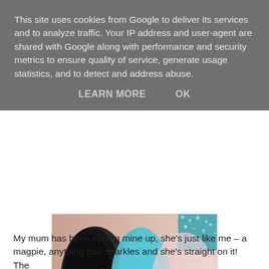This site uses cookies from Google to deliver its services and to analyze traffic. Your IP address and user-agent are shared with Google along with performance and security metrics to ensure quality of service, generate usage statistics, and to detect and address abuse.
LEARN MORE    OK
[Figure (photo): Close-up photo of eyeshadow swatches on skin: black/charcoal swatch on left, teal/blue swatch in center, light pink/white shimmer swatch on right, with glittery background visible in upper right corner.]
My mum has been eyeing mine up, she's just like me – a magpie, anything that sparkles and she's straight on it! The